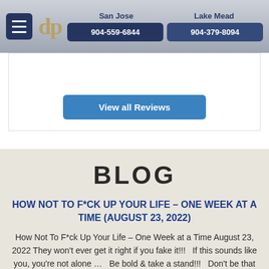San Jose 904-559-6844  Lake Mead 904-379-8094
View all Reviews
BLOG
HOW NOT TO F*CK UP YOUR LIFE – ONE WEEK AT A TIME (AUGUST 23, 2022)
How Not To F*ck Up Your Life – One Week at a Time August 23, 2022 They won't ever get it right if you fake it!!!   If this sounds like you, you're not alone …   Be bold & take a stand!!!   Don't be that person…   Be bold & walk away […]